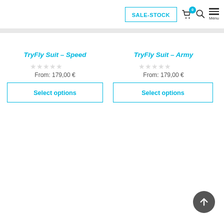SALE-STOCK | Cart | Search | Menu
TryFly Suit – Speed
From: 179,00 €
Select options
TryFly Suit – Army
From: 179,00 €
Select options